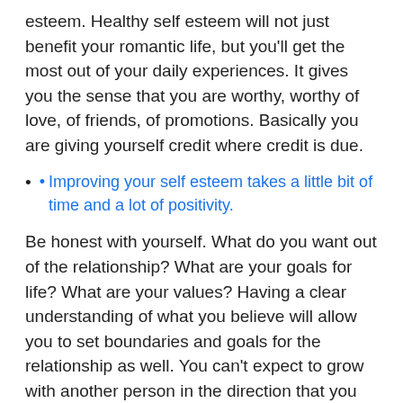esteem. Healthy self esteem will not just benefit your romantic life, but you'll get the most out of your daily experiences. It gives you the sense that you are worthy, worthy of love, of friends, of promotions. Basically you are giving yourself credit where credit is due.
Improving your self esteem takes a little bit of time and a lot of positivity.
Be honest with yourself. What do you want out of the relationship? What are your goals for life? What are your values? Having a clear understanding of what you believe will allow you to set boundaries and goals for the relationship as well. You can't expect to grow with another person in the direction that you want to unless you know what that is. Also, be honest about how you feel, denying that there is a problem if there is one wont make it